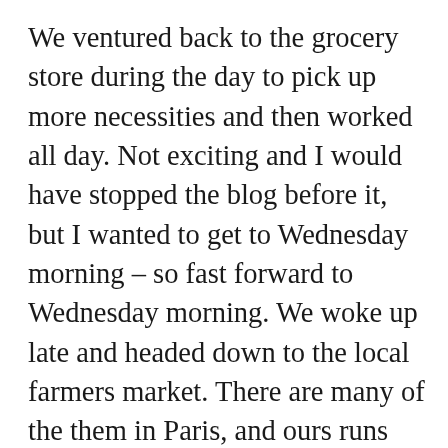We ventured back to the grocery store during the day to pick up more necessities and then worked all day. Not exciting and I would have stopped the blog before it, but I wanted to get to Wednesday morning – so fast forward to Wednesday morning. We woke up late and headed down to the local farmers market. There are many of the them in Paris, and ours runs from the Musée national des arts asiatiques Guimet down a few blocks towards the Palais de Tokyo on the avenue du Président Wilson – Charles, I included this in case you wanted to look it up on Google Maps 😉.  At the